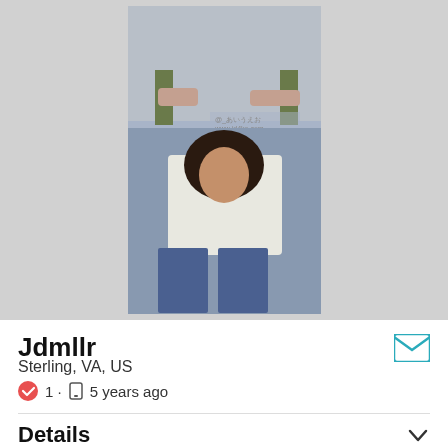[Figure (photo): Profile photo of a young woman wearing a white floral off-shoulder top and ripped jeans with heeled sandals, standing outdoors in front of a building. Top portion shows legs sitting on a bench/railing.]
Jdmllr
Sterling, VA, US
1 · 5 years ago
Details